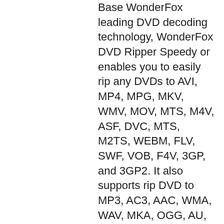Base WonderFox leading DVD decoding technology, WonderFox DVD Ripper Speedy or enables you to easily rip any DVDs to AVI, MP4, MPG, MKV, WMV, MOV, MTS, M4V, ASF, DVC, MTS, M2TS, WEBM, FLV, SWF, VOB, F4V, 3GP, and 3GP2. It also supports rip DVD to MP3, AC3, AAC, WMA, WAV, MKA, OGG, AU, AIFF, FLAC, and M4A audio files.
WonderFox DVD Ripper Speedy Pro Key Rip DVD to Portable Device for Playback
One step to rip your DVD movie to iPad, iPhone, Apple TV, Android Tablet, Samsung Galaxy and Note, HTC cell phone, Nokia Lumia, Blackberry cell phone, Sony cell phone, and PS, TVs, Xbox, Wii, Kindle Fire, Surface, etc.